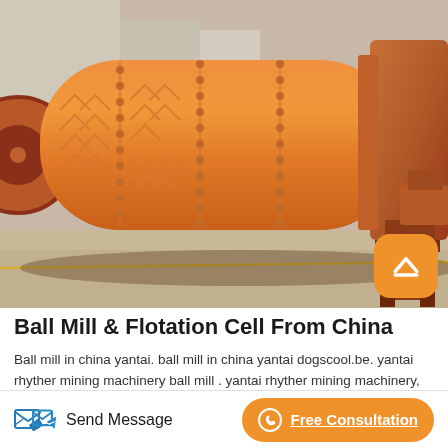[Figure (photo): Large orange industrial ball mill machine sitting outdoors on a concrete surface, with orange cylindrical drum body, flanges, bolted sections, and a steel support frame. A red wheel is visible on the left side. Industrial facility in background.]
Ball Mill & Flotation Cell From China
Ball mill in china yantai. ball mill in china yantai dogscool.be. yantai rhyther mining machinery ball mill . yantai rhyther mining machinery, experts in manufacturing and exporting ball mill, gold cil plant and 323 products china high quality ball mill machine, wet ball mill for gold ore 10,000 00 50,000 00 set 1 set yantai rhyther mining
Send Message
Free Consultation